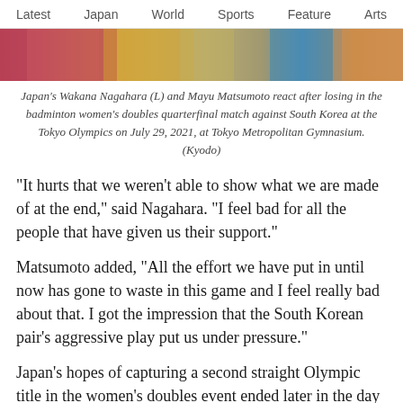Latest   Japan   World   Sports   Feature   Arts
[Figure (photo): Cropped photo showing Japan's Wakana Nagahara and Mayu Matsumoto at the Tokyo Olympics badminton match]
Japan's Wakana Nagahara (L) and Mayu Matsumoto react after losing in the badminton women's doubles quarterfinal match against South Korea at the Tokyo Olympics on July 29, 2021, at Tokyo Metropolitan Gymnasium. (Kyodo)
"It hurts that we weren't able to show what we are made of at the end," said Nagahara. "I feel bad for all the people that have given us their support."
Matsumoto added, "All the effort we have put in until now has gone to waste in this game and I feel really bad about that. I got the impression that the South Korean pair's aggressive play put us under pressure."
Japan's hopes of capturing a second straight Olympic title in the women's doubles event ended later in the day as top seeds Yuki Fukushima and Sayaka Hirota lost 18-21, 21-19, 21-10 to second-seeded Chinese pair